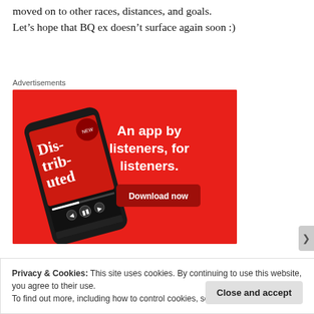moved on to other races, distances, and goals.
Let’s hope that BQ ex doesn’t surface again soon :)
Advertisements
[Figure (illustration): Advertisement banner for a podcast app. Red background with a smartphone showing a podcast app with 'Dis-tri-bu-ted' text on screen. Right side reads 'An app by listeners, for listeners.' with a 'Download now' button.]
Privacy & Cookies: This site uses cookies. By continuing to use this website, you agree to their use.
To find out more, including how to control cookies, see here: Cookie Policy